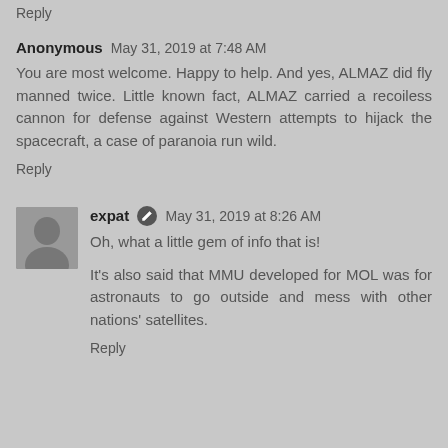Reply
Anonymous May 31, 2019 at 7:48 AM
You are most welcome. Happy to help. And yes, ALMAZ did fly manned twice. Little known fact, ALMAZ carried a recoiless cannon for defense against Western attempts to hijack the spacecraft, a case of paranoia run wild.
Reply
expat May 31, 2019 at 8:26 AM
Oh, what a little gem of info that is!
It's also said that MMU developed for MOL was for astronauts to go outside and mess with other nations' satellites.
Reply